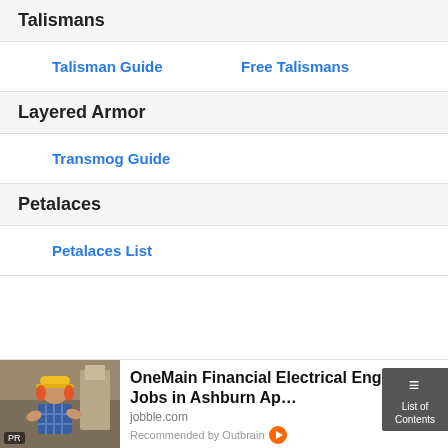Talismans
Talisman Guide
Free Talismans
Layered Armor
Transmog Guide
Petalaces
Petalaces List
[Figure (photo): Man with yellow hard hat and headphones, arms crossed, in front of machinery]
OneMain Financial Electrical Engineer Jobs in Ashburn Ap…
jobble.com
Recommended by Outbrain